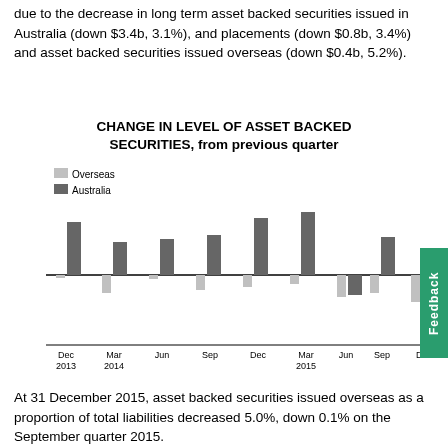due to the decrease in long term asset backed securities issued in Australia (down $3.4b, 3.1%), and placements (down $0.8b, 3.4%) and asset backed securities issued overseas (down $0.4b, 5.2%).
[Figure (grouped-bar-chart): CHANGE IN LEVEL OF ASSET BACKED SECURITIES, from previous quarter]
At 31 December 2015, asset backed securities issued overseas as a proportion of total liabilities decreased 5.0%, down 0.1% on the September quarter 2015.